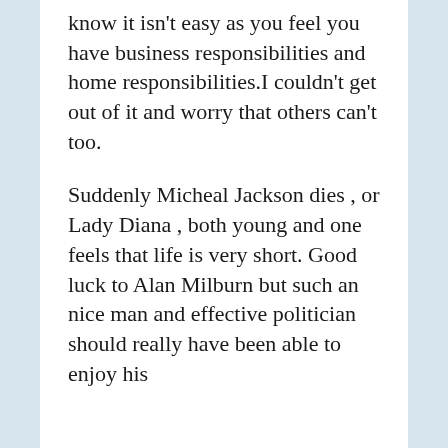know it isn't easy as you feel you have business responsibilities and home responsibilities.I couldn't get out of it and worry that others can't too.
Suddenly Micheal Jackson dies , or Lady Diana , both young and one feels that life is very short. Good luck to Alan Milburn but such an nice man and effective politician should really have been able to enjoy his